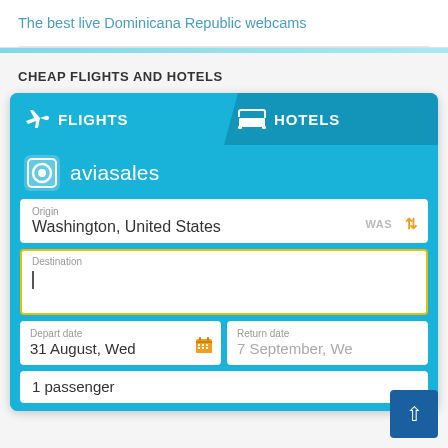The best live Dominicana Republic webcams
CHEAP FLIGHTS AND HOTELS
[Figure (screenshot): Flight and hotel booking widget from aviasales. Shows FLIGHTS and HOTELS tabs, aviasales logo, Origin field showing Washington, United States (WAS), Destination field (active, empty with cursor), Depart date: 31 August, Wed with calendar icon, Return date: 7 September, Wed (partially visible), and 1 passenger field.]